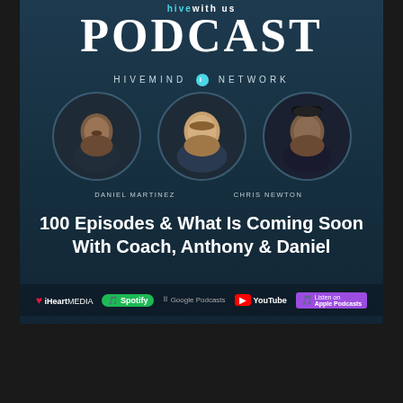[Figure (illustration): Podcast promotional graphic for 'Hive With Us Podcast' on Hivemind Network, featuring three circular profile photos of Daniel Martinez, Chris Newton, and a third person (Anthony), with platform logos for iHeartMedia, Spotify, Google Podcasts, YouTube, and Apple Podcasts]
Bonus
100 Episodes & What Is Coming Soon With Coach, Anthony Gaona & Daniel Martinez